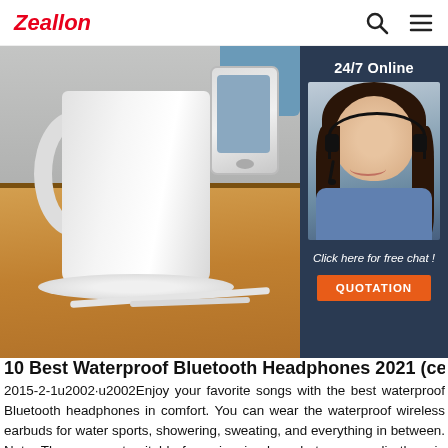Zeallon
[Figure (photo): Hero image of a white ceramic mug on a wooden desk surface with a charging cable, alongside a smartphone. Overlaid with a 24/7 online chat widget featuring an agent photo, 'Click here for free chat!' text, and an orange QUOTATION button.]
10 Best Waterproof Bluetooth Headphones 2021 (certified
2015-2-1u2002·u2002Enjoy your favorite songs with the best waterproof Bluetooth headphones in comfort. You can wear the waterproof wireless earbuds for water sports, showering, sweating, and everything in between. Note: These are not suitable for swimming laps, but you can dip them in water, so they're safe for kayaking, boating, etc.